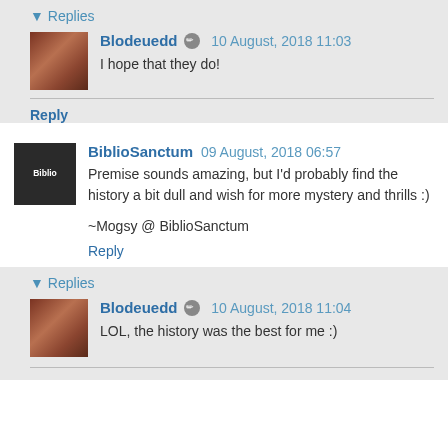▾ Replies
Blodeuedd 10 August, 2018 11:03
I hope that they do!
Reply
BiblioSanctum 09 August, 2018 06:57
Premise sounds amazing, but I'd probably find the history a bit dull and wish for more mystery and thrills :)
~Mogsy @ BiblioSanctum
Reply
▾ Replies
Blodeuedd 10 August, 2018 11:04
LOL, the history was the best for me :)